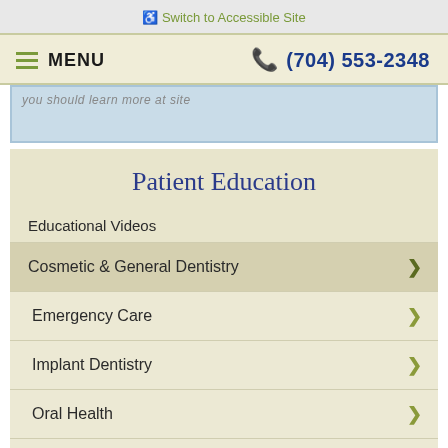Switch to Accessible Site
MENU  (704) 553-2348
you should learn more at site
Patient Education
Educational Videos
Cosmetic & General Dentistry
Emergency Care
Implant Dentistry
Oral Health
Oral Hygiene